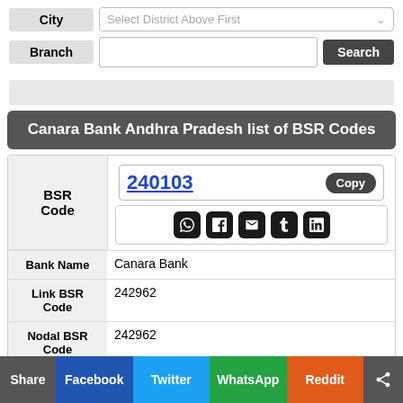City — Select District Above First
Branch — [input] Search
Canara Bank Andhra Pradesh list of BSR Codes
| Field | Value |
| --- | --- |
| BSR Code | 240103 |
| Bank Name | Canara Bank |
| Link BSR Code | 242962 |
| Nodal BSR Code | 242962 |
Share | Facebook | Twitter | WhatsApp | Reddit